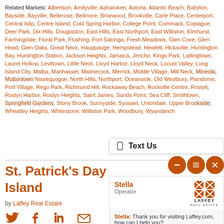Related Markets: Albertson, Amityville, Asharoken, Astoria, Atlantic Beach, Babylon, Bayside, Bayville, Bellerose, Bellmore, Briarwood, Brookville, Carle Place, Centerport, Central Islip, Centre Island, Cold Spring Harbor, College Point, Commack, Copiague, Deer Park, Dix Hills, Douglaston, East Hills, East Northport, East Williston, Elmhurst, Farmingdale, Floral Park, Flushing, Fort Salonga, Fresh Meadows, Glen Cove, Glen Head, Glen Oaks, Great Neck, Hauppauge, Hempstead, Hewlett, Hicksville, Huntington Bay, Huntington Station, Jackson Heights, Jamaica, Jericho, Kings Park, Lattingtown, Laurel Hollow, Levittown, Little Neck, Lloyd Harbor, Lloyd Neck, Locust Valley, Long Island City, Malba, Manhasset, Matinecock, Merrick, Middle Village, Mill Neck, Mineola, Muttontown, Nissequogue, North Hills, Northport, Oceanside, Old Westbury, Plandome, Port Village, Rego Park, Richmond Hill, Rockaway Beach, Rockville Centre, Roslyn, Roslyn Harbor, Roslyn Heights, Saint James, Sands Point, Sea Cliff, Smithtown, Springfield Gardens, Stony Brook, Sunnyside, Syosset, Uniondale, Upper Brookside, Wheatley Heights, Whitestone, Williston Park, Woodbury, Wyandanch
St. Patrick's Day on Long Island
by Laffey Real Estate
[Figure (screenshot): Chat widget overlay with Text Us bar, orange circle buttons, Stella operator chat panel with Laffey Real Estate logo, message from Stella, Type here input, and Powered By LiveAdmins footer]